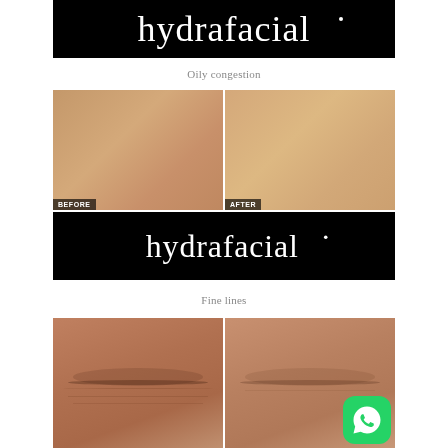[Figure (logo): HydraFacial logo — white serif text on black background]
Oily congestion
[Figure (photo): Before and after comparison photo showing skin with oily congestion treated by HydraFacial, with 'BEFORE' and 'AFTER' labels and HydraFacial logo at bottom]
Fine lines
[Figure (photo): Before and after comparison photo showing close-up of eyes/fine lines treated by HydraFacial, with WhatsApp icon overlay]